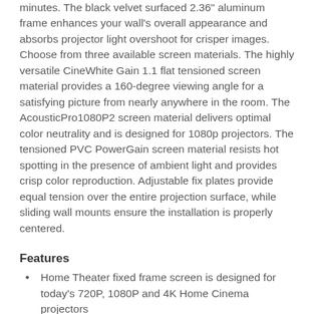minutes. The black velvet surfaced 2.36" aluminum frame enhances your wall's overall appearance and absorbs projector light overshoot for crisper images. Choose from three available screen materials. The highly versatile CineWhite Gain 1.1 flat tensioned screen material provides a 160-degree viewing angle for a satisfying picture from nearly anywhere in the room. The AcousticPro1080P2 screen material delivers optimal color neutrality and is designed for 1080p projectors. The tensioned PVC PowerGain screen material resists hot spotting in the presence of ambient light and provides crisp color reproduction. Adjustable fix plates provide equal tension over the entire projection surface, while sliding wall mounts ensure the installation is properly centered.
Features
Home Theater fixed frame screen is designed for today's 720P, 1080P and 4K Home Cinema projectors
Highly versatile CineWhite Gain 1.1 flat tensioned screen material with 160 degree viewing angle